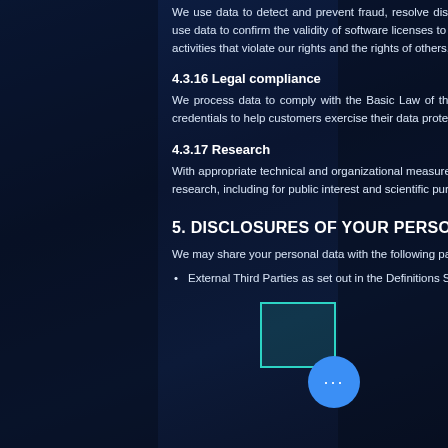We use data to detect and prevent fraud, resolve disputes, enforce agreements, and protect our property. For example, we use data to confirm the validity of software licenses to reduce piracy. We may use automated processes to detect and prevent activities that violate our rights and the rights of others, such as fraud.
4.3.16 Legal compliance
We process data to comply with the Basic Law of the Hong Kong SAR. For example, we process contact information and credentials to help customers exercise their data protection rights.
4.3.17 Research
With appropriate technical and organizational measures to safeguard individuals' rights and freedoms, we use data to conduct research, including for public interest and scientific purposes.
5. DISCLOSURES OF YOUR PERSONAL DATA
We may share your personal data with the following parties for the purposes set out in the table under Clause
External Third Parties as set out in the Definitions Section below; and